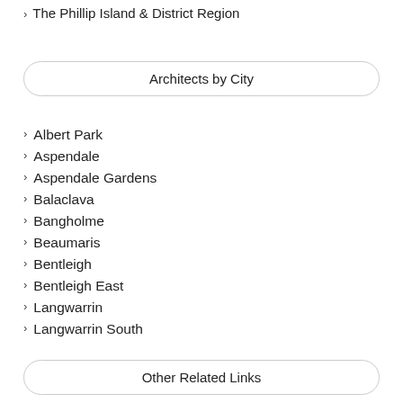The Phillip Island & District Region
Architects by City
Albert Park
Aspendale
Aspendale Gardens
Balaclava
Bangholme
Beaumaris
Bentleigh
Bentleigh East
Langwarrin
Langwarrin South
Other Related Links